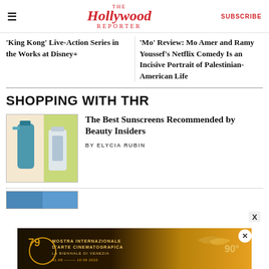The Hollywood Reporter | SUBSCRIBE
'King Kong' Live-Action Series in the Works at Disney+
'Mo' Review: Mo Amer and Ramy Youssef's Netflix Comedy Is an Incisive Portrait of Palestinian-American Life
SHOPPING WITH THR
[Figure (photo): Sunscreen products on a yellow-green background]
The Best Sunscreens Recommended by Beauty Insiders
BY ELYCIA RUBIN
[Figure (photo): Partially visible next shopping article image]
[Figure (photo): Advertisement: Mostra Internazionale d'Arte Cinematografica - La Biennale di Venezia 79, 31.08 - 10.09 2022]